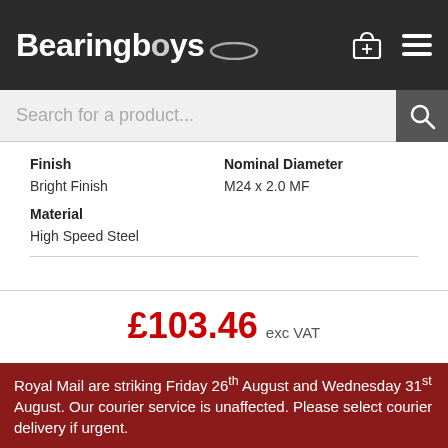[Figure (logo): Bearingboys logo — white bold text on dark background with elliptical ring underline]
Search for a product...
| Finish | Nominal Diameter |
| --- | --- |
| Bright Finish | M24 x 2.0 MF |
| Material |  |
| High Speed Steel |  |
£103.46 exc VAT
Qty: 1  + Add to Basket
[Figure (photo): Hexagonal die nut (M24 x 2.0 MF) made of high speed steel, bright finish, partially visible]
Royal Mail are striking Friday 26th August and Wednesday 31st August. Our courier service is unaffected. Please select courier delivery if urgent.